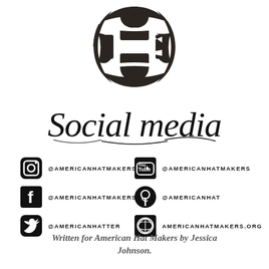[Figure (logo): American Hat Makers logo - circular checkered/interlocking design in dark charcoal/black]
Social media
@AMERICANHATMAKERS (Instagram) | @AMERICANHATMAKERS (YouTube) | @AMERICANHATMAKERS (Facebook) | @AMERICANHAT (Pinterest) | @AMERICANHATTER (Twitter) | AMERICANHATMAKERS.ORG (WordPress)
Written for American Hat Makers by Jessica Johnson.